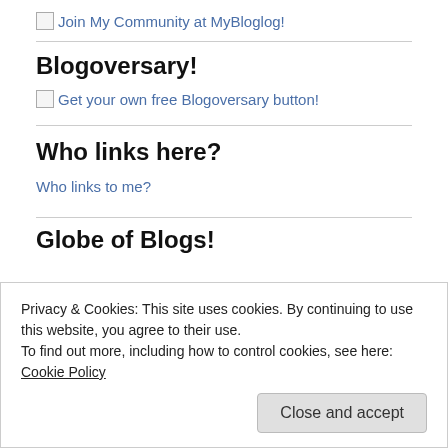[Figure (other): Broken image link: Join My Community at MyBloglog!]
Blogoversary!
[Figure (other): Broken image link: Get your own free Blogoversary button!]
Who links here?
Who links to me?
Globe of Blogs!
Privacy & Cookies: This site uses cookies. By continuing to use this website, you agree to their use.
To find out more, including how to control cookies, see here: Cookie Policy